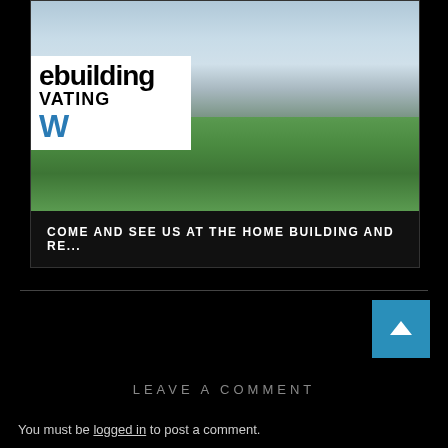[Figure (photo): Photo of a modern house exterior with large glass sliding doors, patio furniture, and a manicured lawn. A magazine logo overlay reads 'ebuilding', 'VATING', 'W' in blue.]
COME AND SEE US AT THE HOME BUILDING AND RE...
LEAVE A COMMENT
You must be logged in to post a comment.